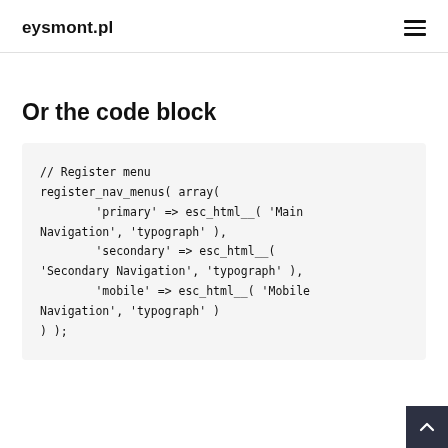eysmont.pl
Or the code block
// Register menu
register_nav_menus( array(
        'primary' => esc_html__( 'Main Navigation', 'typograph' ),
        'secondary' => esc_html__(
'Secondary Navigation', 'typograph' ),
        'mobile' => esc_html__( 'Mobile Navigation', 'typograph' )
) );